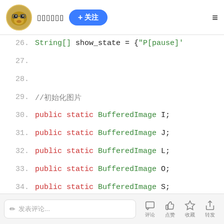[avatar] [username] + 关注  ≡
26.    String[] show_state = {"P[pause]'
27.
28.
29.    //初始化图片
30.    public static BufferedImage I;
31.    public static BufferedImage J;
32.    public static BufferedImage L;
33.    public static BufferedImage O;
34.    public static BufferedImage S;
35.    public static BufferedImage T;
36.    public static BufferedImage Z;
37.    public static BufferedImage back(
✏ 发表评论...  [评论] [点赞] [收藏] [转发]